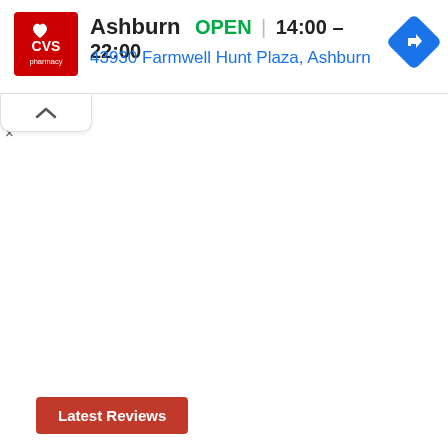[Figure (screenshot): CVS Pharmacy logo: red square with white CVS pharmacy text and heart icon]
Ashburn   OPEN  |  14:00 – 22:00
43930 Farmwell Hunt Plaza, Ashburn
[Figure (other): Blue diamond-shaped navigation/directions icon with white right-turn arrow]
[Figure (other): Collapse/chevron up tab button]
Latest Reviews